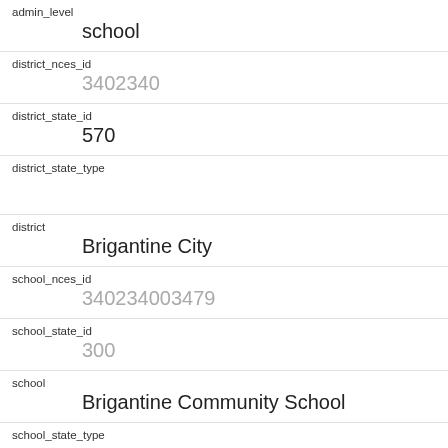| Field | Value |
| --- | --- |
| admin_level | school |
| district_nces_id | 3402340 |
| district_state_id | 570 |
| district_state_type |  |
| district | Brigantine City |
| school_nces_id | 340234003479 |
| school_state_id | 300 |
| school | Brigantine Community School |
| school_state_type |  |
| ccd_school_type | Regular School |
| ccd_charter_school |  |